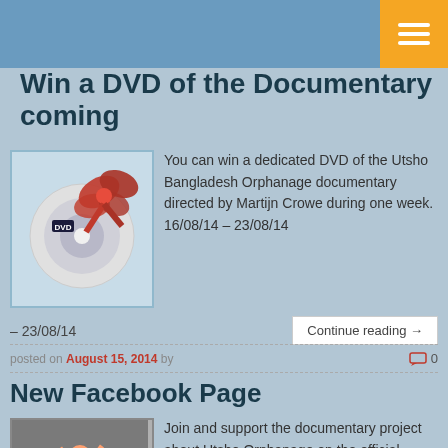Win a DVD of the Documentary coming
[Figure (photo): DVD disc with red bow ribbon on light blue background]
You can win a dedicated DVD of the Utsho Bangladesh Orphanage documentary directed by Martijn Crowe during one week. 16/08/14 – 23/08/14
Continue reading →
posted on August 15, 2014 by
0
New Facebook Page
[Figure (photo): People dancing and celebrating, group photo]
Join and support the documentary project about Utsho Orphanage on the official Facebook page. Like